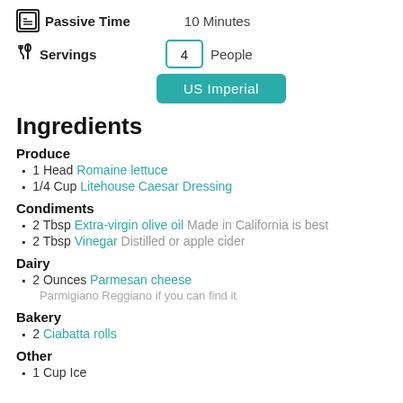Passive Time  10 Minutes
Servings  4  People
US Imperial
Ingredients
Produce
1 Head Romaine lettuce
1/4 Cup Litehouse Caesar Dressing
Condiments
2 Tbsp Extra-virgin olive oil Made in California is best
2 Tbsp Vinegar Distilled or apple cider
Dairy
2 Ounces Parmesan cheese
Parmigiano Reggiano if you can find it
Bakery
2 Ciabatta rolls
Other
1 Cup Ice